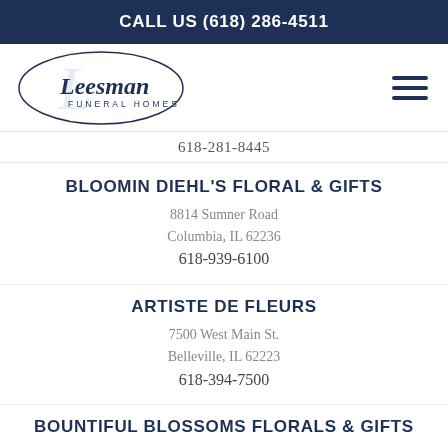CALL US (618) 286-4511
[Figure (logo): Leesman Funeral Homes oval logo with cursive lettering]
618-281-8445
BLOOMIN DIEHL'S FLORAL & GIFTS
8814 Sumner Road
Columbia, IL 62236
618-939-6100
ARTISTE DE FLEURS
7500 West Main St.
Belleville, IL 62223
618-394-7500
BOUNTIFUL BLOSSOMS FLORALS & GIFTS